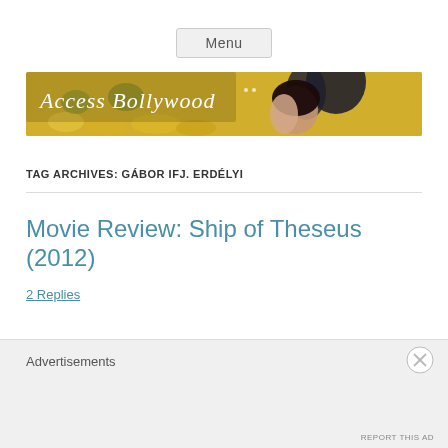Menu
[Figure (illustration): Access Bollywood website banner with logo text over a photo of a woman in a yellow flower field]
TAG ARCHIVES: GÁBOR IFJ. ERDÉLYI
Movie Review: Ship of Theseus (2012)
2 Replies
Advertisements